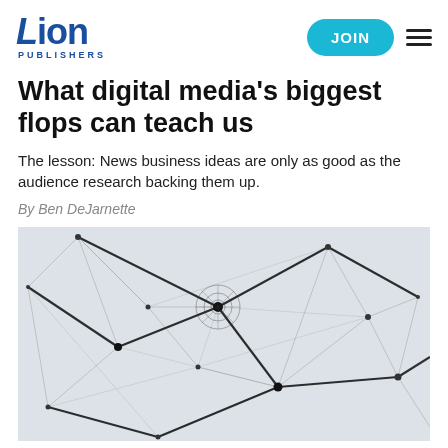Lion Publishers | JOIN
What digital media's biggest flops can teach us
The lesson: News business ideas are only as good as the audience research backing them up.
By Ben DeJarnette
[Figure (photo): Abstract network graph image with dark lines connecting nodes on a light grey background, resembling a spider web or broken glass pattern.]